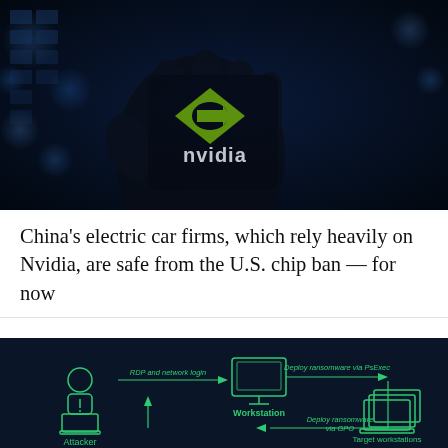[Figure (photo): A hand holding a smartphone with the NVIDIA logo (green diamond eye icon + white NVIDIA wordmark) on a dark screen, against a blurred blue background with bokeh lights.]
China's electric car firms, which rely heavily on Nvidia, are safe from the U.S. chip ban — for now
[Figure (infographic): Dark navy background infographic showing a ransomware attack flowchart. An 'Attacker' figure at bottom-left connects via 'RDP and network login' arrow to a 'Workstation' in the center-top. From the Workstation, 'Deploy ransomware via PsExec' arrow goes right to 'Target workstations'. A 'Deploy ransomware via GPO' arrow goes upward to the Workstation from below. All elements are drawn in green outlines on dark navy.]